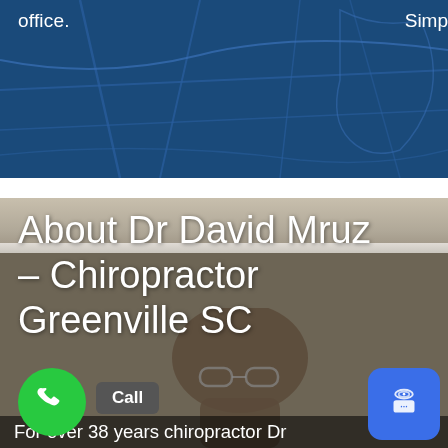[Figure (map): Blue road map background with text 'office.' on the left and 'Simp' partially visible on the right, showing road networks on a dark blue background.]
[Figure (photo): Photo of Dr David Mruz in a chiropractic office setting, upside down portrait visible at bottom, textured ceiling and wall visible. Large white text overlay reads 'About Dr David Mruz – Chiropractor Greenville SC'. Green phone call button and chat widget visible. Bottom text reads 'For over 38 years chiropractor Dr']
About Dr David Mruz – Chiropractor Greenville SC
For over 38 years chiropractor Dr